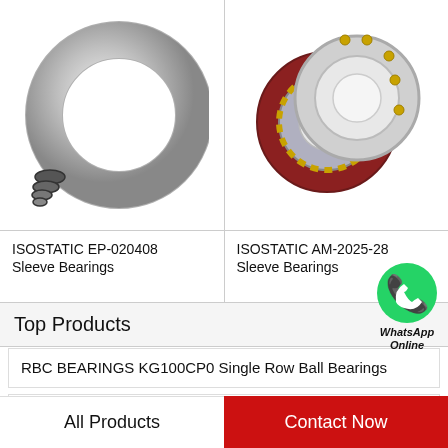[Figure (photo): ISOSTATIC EP-020408 Sleeve Bearings – silver coil/ring bearing component on white background]
ISOSTATIC EP-020408 Sleeve Bearings
[Figure (photo): ISOSTATIC AM-2025-28 Sleeve Bearings – angular contact ball bearing with gold cage on white background]
ISOSTATIC AM-2025-28 Sleeve Bearings
[Figure (illustration): WhatsApp Online contact button with green WhatsApp icon]
Top Products
RBC BEARINGS KG100CP0 Single Row Ball Bearings
MCGILL SB 22215 C3 W33 Spherical Roller Bearings
All Products
Contact Now